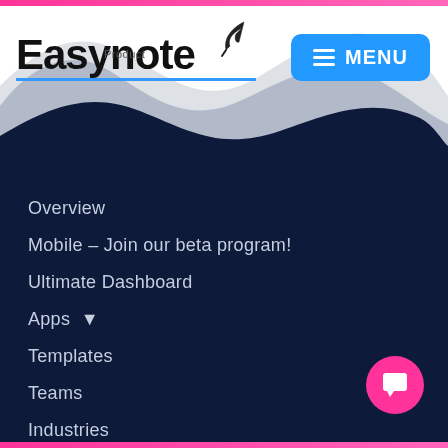[Figure (logo): Easynote logo with feather icon and blue underline, plus Product label]
[Figure (screenshot): Blue MENU button with hamburger icon in top right]
Overview
Mobile – Join our beta program!
Ultimate Dashboard
Apps ▾
Templates
Teams
Industries
Pricing
Roadmap